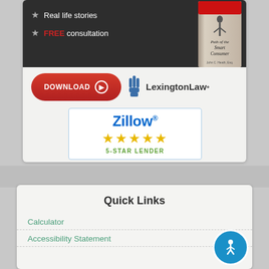[Figure (screenshot): Top promotional card showing a dark banner with star bullet points 'Real life stories' and 'FREE consultation', a book image 'Path of the Smart Consumer', a red DOWNLOAD button, and the Lexington Law logo]
[Figure (logo): Zillow 5-star lender badge with blue Zillow text, five gold stars, and green '5-STAR LENDER' text]
Quick Links
Calculator
Accessibility Statement